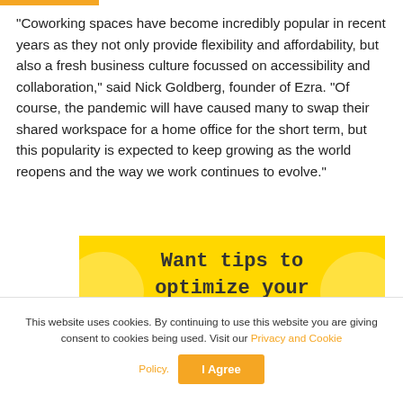“Coworking spaces have become incredibly popular in recent years as they not only provide flexibility and affordability, but also a fresh business culture focussed on accessibility and collaboration,” said Nick Goldberg, founder of Ezra. “Of course, the pandemic will have caused many to swap their shared workspace for a home office for the short term, but this popularity is expected to keep growing as the world reopens and the way we work continues to evolve.”
[Figure (infographic): Yellow banner with text: Want tips to optimize your coworking space?]
This website uses cookies. By continuing to use this website you are giving consent to cookies being used. Visit our Privacy and Cookie Policy.
I Agree